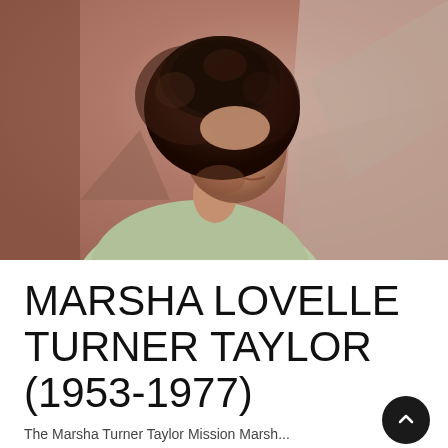[Figure (photo): Vintage photograph of a young woman with a natural afro hairstyle, smiling, photographed from a three-quarter rear angle, wearing a light-colored patterned top. Warm pinkish-brown toned background typical of 1970s photography.]
MARSHA LOVELLE TURNER TAYLOR (1953-1977)
The Marsha Turner Taylor Mission Marsha...